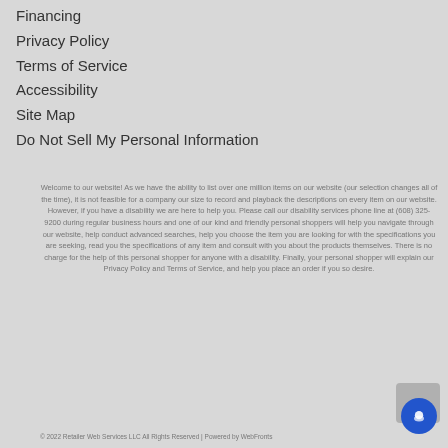Financing
Privacy Policy
Terms of Service
Accessibility
Site Map
Do Not Sell My Personal Information
Welcome to our website! As we have the ability to list over one million items on our website (our selection changes all of the time), it is not feasible for a company our size to record and playback the descriptions on every item on our website. However, if you have a disability we are here to help you. Please call our disability services phone line at (608) 325-9200 during regular business hours and one of our kind and friendly personal shoppers will help you navigate through our website, help conduct advanced searches, help you choose the item you are looking for with the specifications you are seeking, read you the specifications of any item and consult with you about the products themselves. There is no charge for the help of this personal shopper for anyone with a disability. Finally, your personal shopper will explain our Privacy Policy and Terms of Service, and help you place an order if you so desire.
© 2022 Retailer Web Services LLC All Rights Reserved | Powered by WebFronts